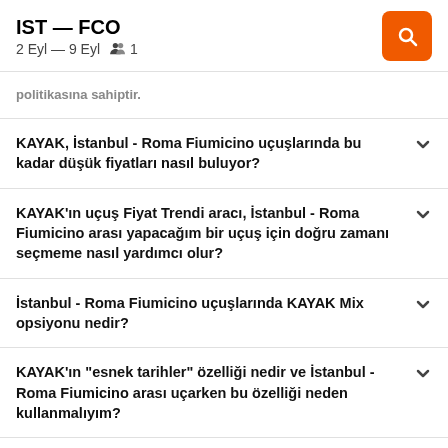IST — FCO
2 Eyl — 9 Eyl  1
politikasına sahiptir.
KAYAK, İstanbul - Roma Fiumicino uçuşlarında bu kadar düşük fiyatları nasıl buluyor?
KAYAK'ın uçuş Fiyat Trendi aracı, İstanbul - Roma Fiumicino arası yapacağım bir uçuş için doğru zamanı seçmeme nasıl yardımcı olur?
İstanbul - Roma Fiumicino uçuşlarında KAYAK Mix opsiyonu nedir?
KAYAK'ın "esnek tarihler" özelliği nedir ve İstanbul - Roma Fiumicino arası uçarken bu özelliği neden kullanmalıyım?